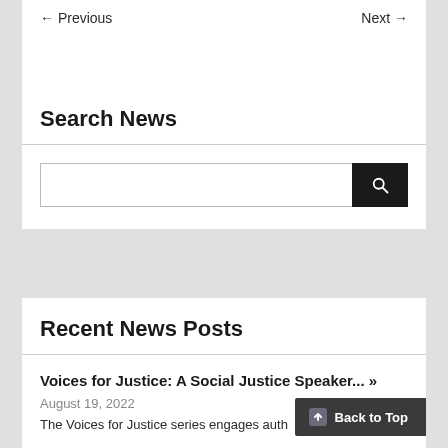← Previous    Next →
Search News
[Figure (screenshot): Search input box with a black search button containing a magnifying glass icon]
Recent News Posts
Voices for Justice: A Social Justice Speaker... »
August 19, 2022
The Voices for Justice series engages auth